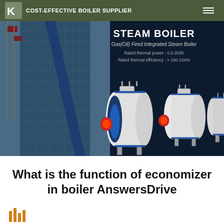COST-EFFECTIVE BOILER SUPPLIER
[Figure (photo): Steam boiler product banner showing Gas(Oil) Fired Integrated Steam Boiler with dark blue background, building image on left, and three boiler units displayed. Text: STEAM BOILER, Gas(Oil) Fired Integrated Steam Boiler, Rated thermal power: 0.5-20t/h, Rated thermal efficiency: > 100-104%]
What is the function of economizer in boiler AnswersDrive